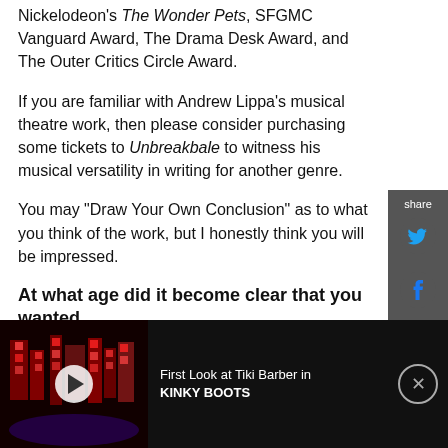Nickelodeon's The Wonder Pets, SFGMC Vanguard Award, The Drama Desk Award, and The Outer Critics Circle Award.
If you are familiar with Andrew Lippa's musical theatre work, then please consider purchasing some tickets to Unbreakbale to witness his musical versatility in writing for another genre.
You may "Draw Your Own Conclusion" as to what you think of the work, but I honestly think you will be impressed.
At what age did it become clear that you wanted
[Figure (screenshot): Video ad thumbnail showing a dark stage set with red geometric lighting for Kinky Boots, with a play button overlay]
First Look at Tiki Barber in KINKY BOOTS